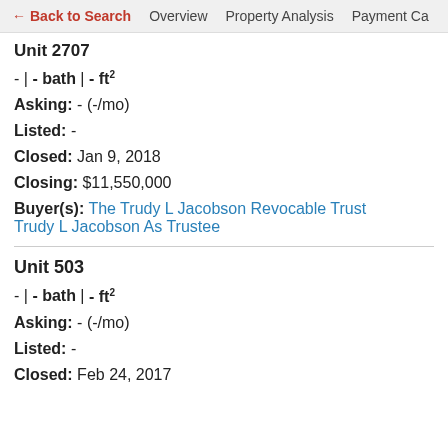← Back to Search   Overview   Property Analysis   Payment Ca
Unit 2707
- | - bath | - ft²
Asking: - (-/mo)
Listed: -
Closed: Jan 9, 2018
Closing: $11,550,000
Buyer(s): The Trudy L Jacobson Revocable Trust Trudy L Jacobson As Trustee
Unit 503
- | - bath | - ft²
Asking: - (-/mo)
Listed: -
Closed: Feb 24, 2017